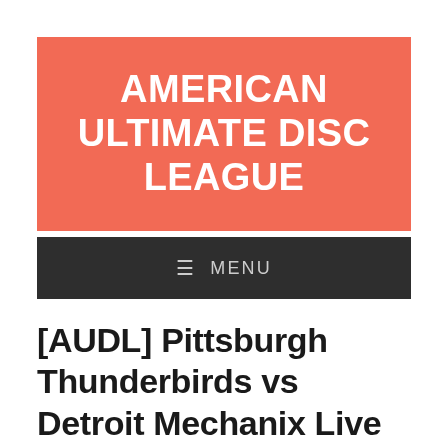[Figure (logo): American Ultimate Disc League logo banner — salmon/coral red background with bold white uppercase text reading AMERICAN ULTIMATE DISC LEAGUE]
≡ MENU
[AUDL] Pittsburgh Thunderbirds vs Detroit Mechanix Live Disc (00/04/2020)